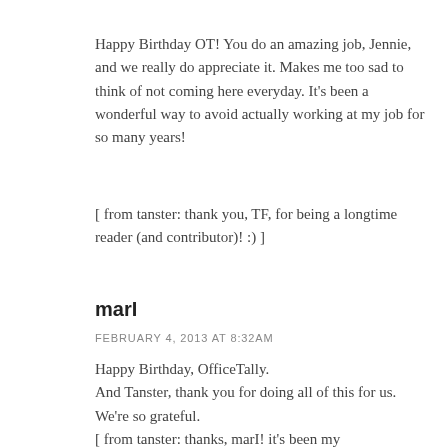Happy Birthday OT! You do an amazing job, Jennie, and we really do appreciate it. Makes me too sad to think of not coming here everyday. It's been a wonderful way to avoid actually working at my job for so many years!
[ from tanster: thank you, TF, for being a longtime reader (and contributor)! :) ]
marI
FEBRUARY 4, 2013 AT 8:32AM
Happy Birthday, OfficeTally.
And Tanster, thank you for doing all of this for us.
We're so grateful.
[ from tanster: thanks, marI! it's been my